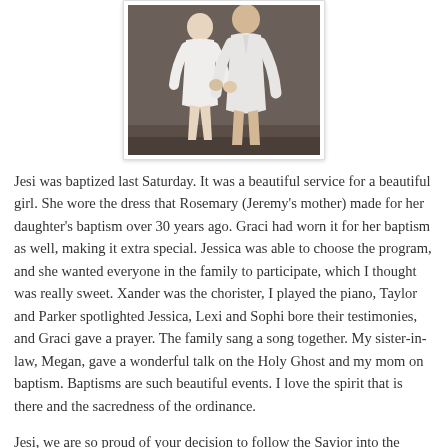[Figure (photo): Two people wearing white baptism clothing standing in front of a dark background.]
Jesi was baptized last Saturday. It was a beautiful service for a beautiful girl. She wore the dress that Rosemary (Jeremy's mother) made for her daughter's baptism over 30 years ago. Graci had worn it for her baptism as well, making it extra special. Jessica was able to choose the program, and she wanted everyone in the family to participate, which I thought was really sweet. Xander was the chorister, I played the piano, Taylor and Parker spotlighted Jessica, Lexi and Sophi bore their testimonies, and Graci gave a prayer. The family sang a song together. My sister-in-law, Megan, gave a wonderful talk on the Holy Ghost and my mom on baptism. Baptisms are such beautiful events. I love the spirit that is there and the sacredness of the ordinance.
Jesi, we are so proud of your decision to follow the Savior into the waters of baptism. We love you with all of our hearts.